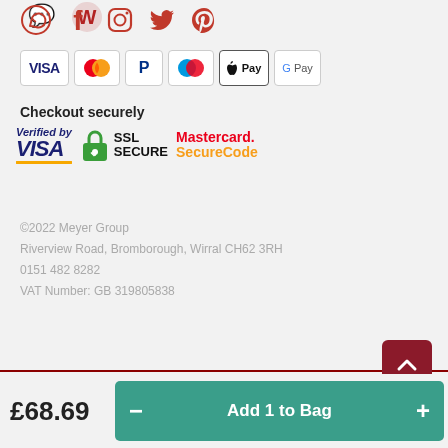[Figure (illustration): Social media icons: WhatsApp, Facebook, Instagram, Twitter, Pinterest — all in red/crimson]
[Figure (illustration): Payment method badges: VISA, Mastercard, PayPal, Maestro, Apple Pay, Google Pay]
Checkout securely
[Figure (illustration): Security trust badges: Verified by VISA (blue/gold), SSL SECURE (green padlock), Mastercard SecureCode (red/orange)]
©2022 Meyer Group
Riverview Road, Bromborough, Wirral CH62 3RH
0151 482 8282
VAT Number: GB 319805838
£68.69
Add 1 to Bag